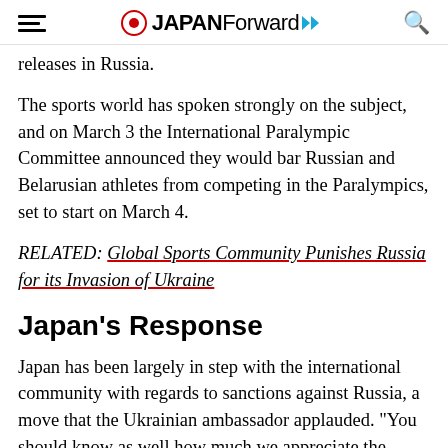JAPAN Forward
releases in Russia.
The sports world has spoken strongly on the subject, and on March 3 the International Paralympic Committee announced they would bar Russian and Belarusian athletes from competing in the Paralympics, set to start on March 4.
RELATED: Global Sports Community Punishes Russia for its Invasion of Ukraine
Japan's Response
Japan has been largely in step with the international community with regards to sanctions against Russia, a move that the Ukrainian ambassador applauded. "You should know as well how much we appreciate the support